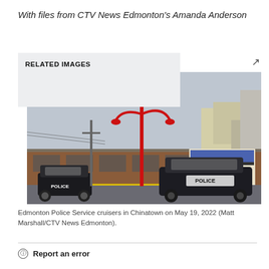With files from CTV News Edmonton's Amanda Anderson
RELATED IMAGES
[Figure (photo): Edmonton Police Service cruisers parked in front of Chinatown storefronts on a cloudy day, with yellow police tape visible and a red decorative street lamp in the foreground.]
Edmonton Police Service cruisers in Chinatown on May 19, 2022 (Matt Marshall/CTV News Edmonton).
Report an error